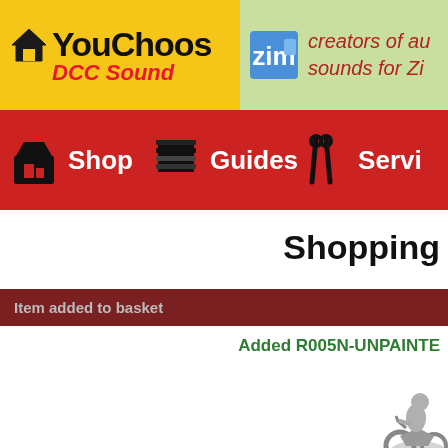[Figure (screenshot): YouChoos DCC Sound website header banner with yellow background on left showing YouChoos logo and red DCC Sound text, and light green background on right showing Zimo logo and text 'creators of au... sounds for Zi...']
[Figure (screenshot): Red navigation bar with Shop, Guides, and Servi... (Services) menu items with black icons]
Shopping
Item added to basket
Added R005N-UNPAINTE
[Figure (photo): Grey unpainted model figurine of a person on a motorcycle, top right area]
[Figure (photo): Grey unpainted model figurine partially visible at bottom left]